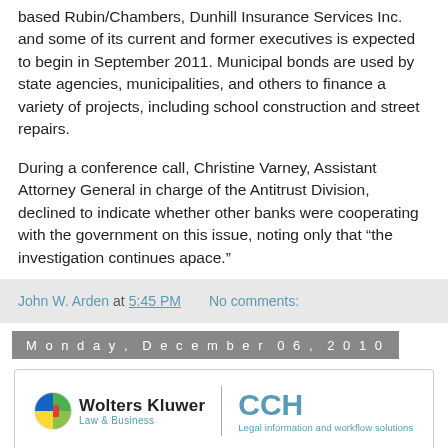based Rubin/Chambers, Dunhill Insurance Services Inc. and some of its current and former executives is expected to begin in September 2011. Municipal bonds are used by state agencies, municipalities, and others to finance a variety of projects, including school construction and street repairs.
During a conference call, Christine Varney, Assistant Attorney General in charge of the Antitrust Division, declined to indicate whether other banks were cooperating with the government on this issue, noting only that “the investigation continues apace.”
John W. Arden at 5:45 PM   No comments:
Monday, December 06, 2010
[Figure (logo): Wolters Kluwer Law & Business | CCH Legal information and workflow solutions logo]
...